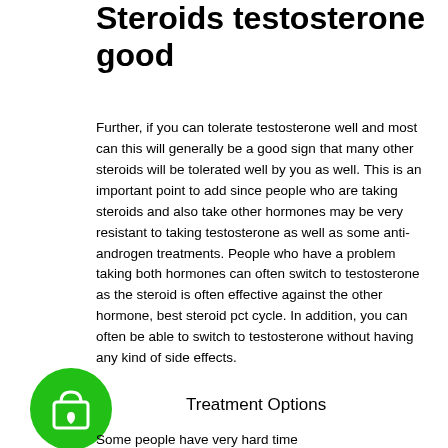Steroids testosterone good
Further, if you can tolerate testosterone well and most can this will generally be a good sign that many other steroids will be tolerated well by you as well. This is an important point to add since people who are taking steroids and also take other hormones may be very resistant to taking testosterone as well as some anti-androgen treatments. People who have a problem taking both hormones can often switch to testosterone as the steroid is often effective against the other hormone, best steroid pct cycle. In addition, you can often be able to switch to testosterone without having any kind of side effects.
[Figure (illustration): Green circle icon with a shopping bag and heart symbol]
Treatment Options
Some people have very hard time